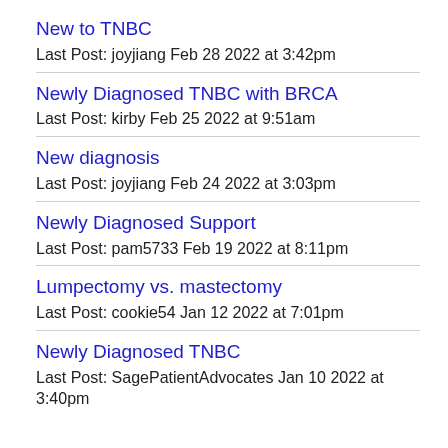New to TNBC
Last Post: joyjiang Feb 28 2022 at 3:42pm
Newly Diagnosed TNBC with BRCA
Last Post: kirby Feb 25 2022 at 9:51am
New diagnosis
Last Post: joyjiang Feb 24 2022 at 3:03pm
Newly Diagnosed Support
Last Post: pam5733 Feb 19 2022 at 8:11pm
Lumpectomy vs. mastectomy
Last Post: cookie54 Jan 12 2022 at 7:01pm
Newly Diagnosed TNBC
Last Post: SagePatientAdvocates Jan 10 2022 at 3:40pm